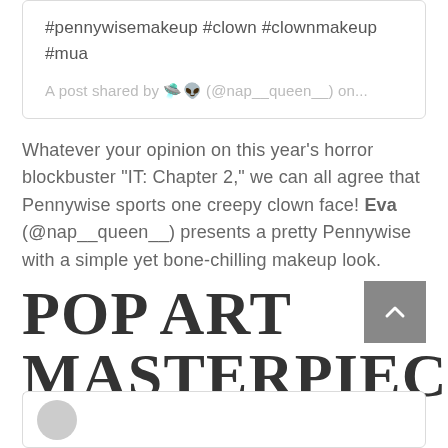#pennywisemakeup #clown #clownmakeup #mua
A post shared by 👽 (@nap__queen__) on...
Whatever your opinion on this year's horror blockbuster "IT: Chapter 2," we can all agree that Pennywise sports one creepy clown face! Eva (@nap__queen__) presents a pretty Pennywise with a simple yet bone-chilling makeup look.
POP ART MASTERPIECE